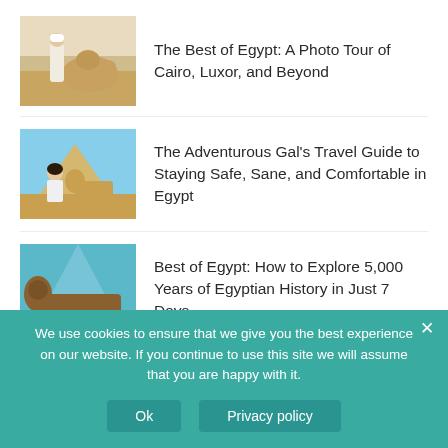The Best of Egypt: A Photo Tour of Cairo, Luxor, and Beyond
The Adventurous Gal's Travel Guide to Staying Safe, Sane, and Comfortable in Egypt
Best of Egypt: How to Explore 5,000 Years of Egyptian History in Just 7 Days
We use cookies to ensure that we give you the best experience on our website. If you continue to use this site we will assume that you are happy with it.
Ok
Privacy policy